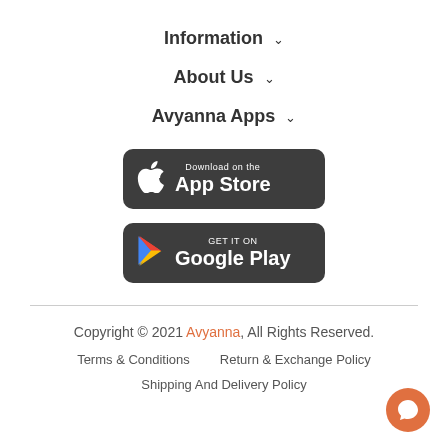Information ∨
About Us ∨
Avyanna Apps ∨
[Figure (screenshot): Download on the App Store badge button]
[Figure (screenshot): Get it on Google Play badge button]
Copyright © 2021 Avyanna, All Rights Reserved.
Terms & Conditions   Return & Exchange Policy
Shipping And Delivery Policy